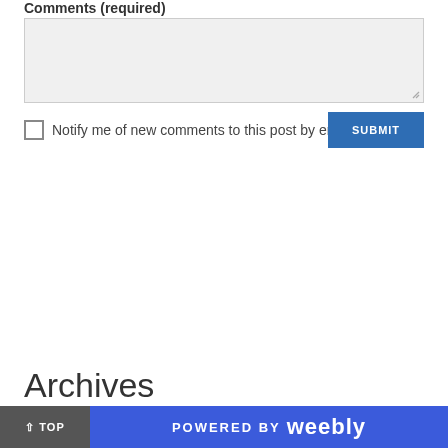Comments (required)
Notify me of new comments to this post by email
SUBMIT
Archives
^ TOP   POWERED BY weebly